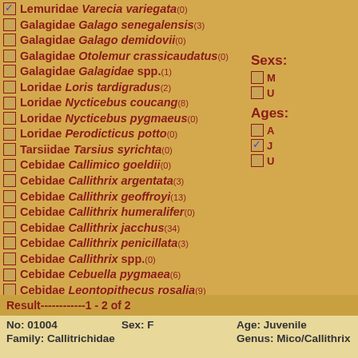Lemuridae Varecia variegata(0)
Galagidae Galago senegalensis(3)
Galagidae Galago demidovii(0)
Galagidae Otolemur crassicaudatus(0)
Galagidae Galagidae spp.(1)
Loridae Loris tardigradus(2)
Loridae Nycticebus coucang(8)
Loridae Nycticebus pygmaeus(0)
Loridae Perodicticus potto(0)
Tarsiidae Tarsius syrichta(0)
Cebidae Callimico goeldii(0)
Cebidae Callithrix argentata(3)
Cebidae Callithrix geoffroyi(13)
Cebidae Callithrix humeralifer(0)
Cebidae Callithrix jacchus(34)
Cebidae Callithrix penicillata(3)
Cebidae Callithrix spp.(0)
Cebidae Cebuella pygmaea(6)
Cebidae Leontopithecus rosalia(9)
Cebidae Saguinus bicolor(1)
Cebidae Saguinus fuscicollis(0)
Cebidae Saguinus geoffroyi(2)
Sexs:
Ages:
Result------------1 - 2 of 2
No: 01004   Sex: F   Age: Juvenile
Family: Callitrichidae   Genus: Mico/Callithrix